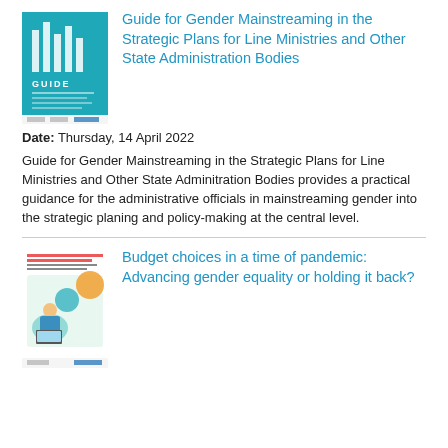[Figure (illustration): Cover image of a guide book titled 'GUIDE' with teal/turquoise color scheme showing a building/column design]
Guide for Gender Mainstreaming in the Strategic Plans for Line Ministries and Other State Administration Bodies
Date: Thursday, 14 April 2022
Guide for Gender Mainstreaming in the Strategic Plans for Line Ministries and Other State Adminitration Bodies provides a practical guidance for the administrative officials in mainstreaming gender into the strategic planing and policy-making at the central level.
[Figure (illustration): Cover image of a publication titled 'Budget Choices in a Time of Pandemic: Advancing Gender Equality or Holding it Back?' with a colorful illustration of a woman working on a laptop]
Budget choices in a time of pandemic: Advancing gender equality or holding it back?